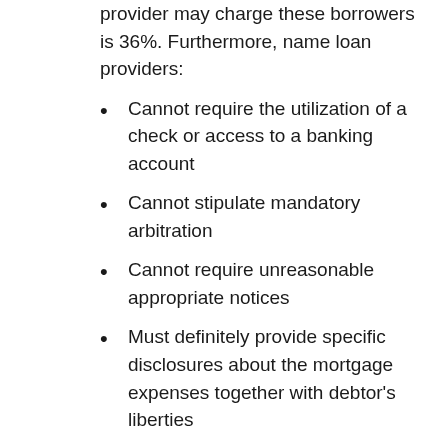provider may charge these borrowers is 36%. Furthermore, name loan providers:
Cannot require the utilization of a check or access to a banking account
Cannot stipulate mandatory arbitration
Cannot require unreasonable appropriate notices
Must definitely provide specific disclosures about the mortgage expenses together with debtor's liberties
If your name loan contract violates some of these rules with regard to service that is military, it is automatically void. While these protections that are extra great, the expense of a name loan continues to be onerousвЂ"especially if you need to move on the loanвЂ"and should make